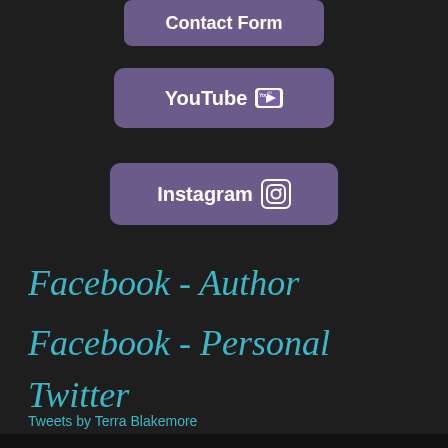[Figure (other): Contact Form button - purple rounded rectangle with white bold text]
[Figure (other): YouTube button - purple rounded rectangle with white bold text and YouTube icon]
[Figure (other): Instagram button - purple rounded rectangle with white bold text and Instagram icon]
Facebook - Author
Facebook - Personal
Twitter
Tweets by Terra Blakemore